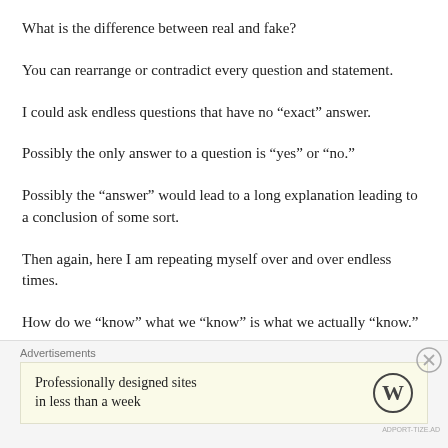What is the difference between real and fake?
You can rearrange or contradict every question and statement.
I could ask endless questions that have no “exact” answer.
Possibly the only answer to a question is “yes” or “no.”
Possibly the “answer” would lead to a long explanation leading to a conclusion of some sort.
Then again, here I am repeating myself over and over endless times.
How do we “know” what we “know” is what we actually “know.”
Advertisements
Professionally designed sites in less than a week